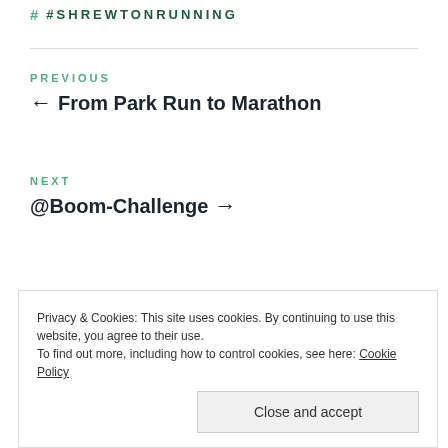# #SHREWTONRUNNING
← From Park Run to Marathon
PREVIOUS
NEXT
@Boom-Challenge →
Privacy & Cookies: This site uses cookies. By continuing to use this website, you agree to their use.
To find out more, including how to control cookies, see here: Cookie Policy
Close and accept